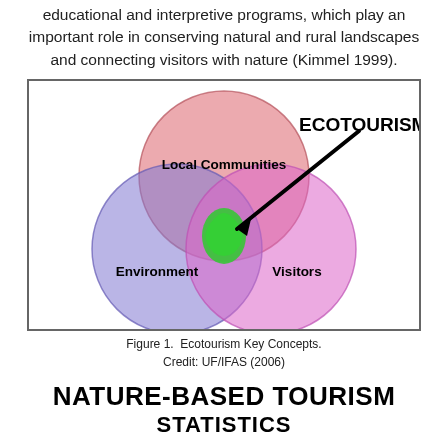educational and interpretive programs, which play an important role in conserving natural and rural landscapes and connecting visitors with nature (Kimmel 1999).
[Figure (infographic): Venn diagram showing three overlapping circles labeled 'Local Communities' (red/pink, top), 'Environment' (blue/purple, bottom-left), and 'Visitors' (pink/magenta, bottom-right). The intersection of all three circles is highlighted in green. An arrow labeled 'ECOTOURISM' points from the top-right to the green center intersection.]
Figure 1.  Ecotourism Key Concepts.
Credit: UF/IFAS (2006)
NATURE-BASED TOURISM
STATISTICS